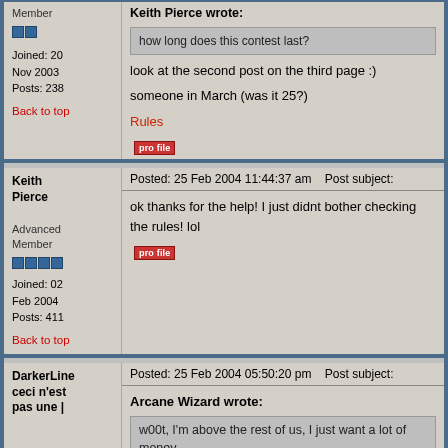Keith Pierce wrote:
how long does this contest last?
Member
Joined: 20 Nov 2003
Posts: 238
look at the second post on the third page :)
someone in March (was it 25?)
Rules
Back to top
Keith Pierce
Posted: 25 Feb 2004 11:44:37 am    Post subject:
ok thanks for the help! I just didnt bother checking the rules! lol
Advanced Member
Joined: 02 Feb 2004
Posts: 411
Back to top
DarkerLine
ceci n'est pas une |
Posted: 25 Feb 2004 05:50:20 pm    Post subject:
Arcane Wizard wrote:
w00t, I'm above the rest of us, I just want a lot of money